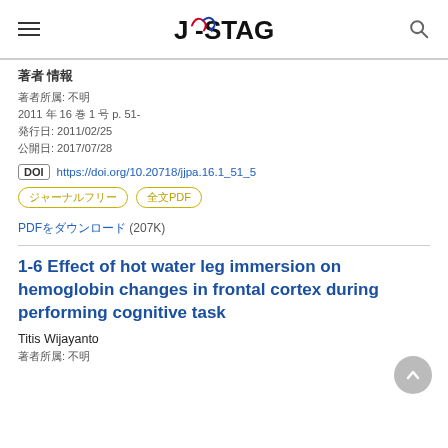J-STAGE
著者 情報
著者所属: 不明
2011 年 16 巻 1 号 p. 51-
発行日: 2011/02/25
公開日: 2017/07/28
DOI https://doi.org/10.20718/jjpa.16.1_51_5
ジャーナルフリー　全文PDF
PDFをダウンロード (207K)
1-6 Effect of hot water leg immersion on hemoglobin changes in frontal cortex during performing cognitive task
Titis Wijayanto
著者所属: 不明